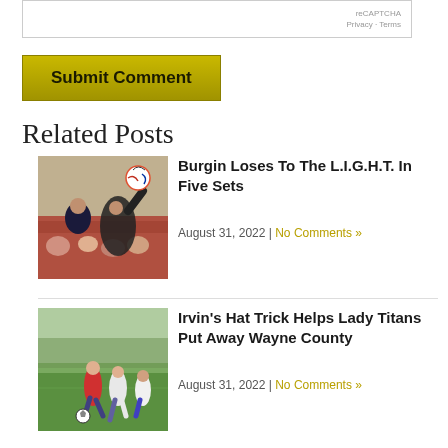[Figure (screenshot): reCAPTCHA widget box with 'reCAPTCHA Privacy - Terms' text]
[Figure (other): Submit Comment button with golden/olive background]
Related Posts
[Figure (photo): Volleyball player spiking a ball with coach and spectators in background]
Burgin Loses To The L.I.G.H.T. In Five Sets
August 31, 2022 | No Comments »
[Figure (photo): Girls soccer players running on a field during a game]
Irvin's Hat Trick Helps Lady Titans Put Away Wayne County
August 31, 2022 | No Comments »